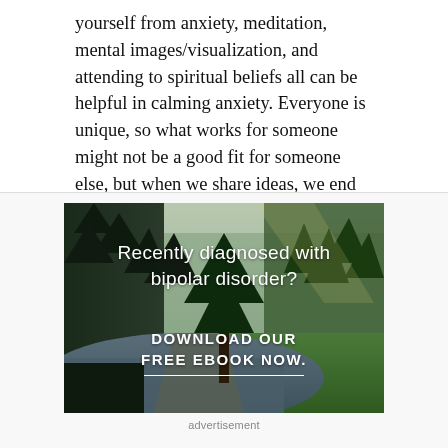yourself from anxiety, meditation, mental images/visualization, and attending to spiritual beliefs all can be helpful in calming anxiety. Everyone is unique, so what works for someone might not be a good fit for someone else, but when we share ideas, we end up with lots of great approaches to reducing anxiety.
[Figure (photo): Forest and river landscape photo with text overlay: 'Recently diagnosed with bipolar disorder?' and 'DOWNLOAD OUR FREE EBOOK NOW.' with a white underline. Below the image is the label 'advertisement'.]